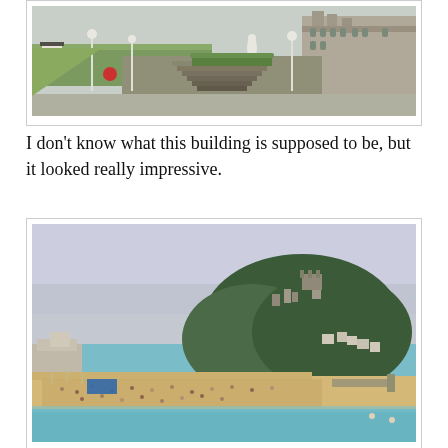[Figure (photo): Outdoor photograph of an impressive stone building or monument with wide staircases, green lawns, white lamp posts, a white statue, and ornate gothic-style architecture in the background. Grey overcast sky.]
I don't know what this building is supposed to be, but it looked really impressive.
[Figure (photo): Aerial or elevated view of a crowded beach with a large rocky hill/headland covered in trees and buildings in the background. Blue-green water, overcast sky, beach packed with people and beach chairs.]